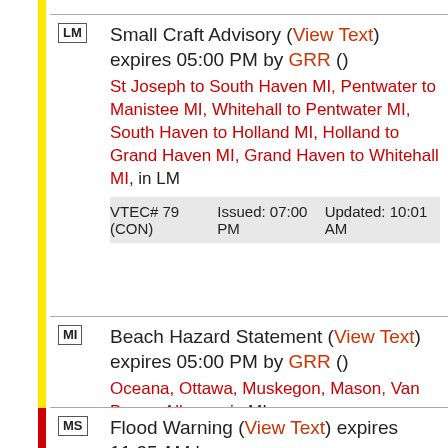Small Craft Advisory (View Text) expires 05:00 PM by GRR ()
St Joseph to South Haven MI, Pentwater to Manistee MI, Whitehall to Pentwater MI, South Haven to Holland MI, Holland to Grand Haven MI, Grand Haven to Whitehall MI, in LM
VTEC# 79 (CON)   Issued: 07:00 PM   Updated: 10:01 AM
Beach Hazard Statement (View Text) expires 05:00 PM by GRR ()
Oceana, Ottawa, Muskegon, Mason, Van Buren, Allegan, in MI
VTEC# 22 (CON)   Issued: 07:00 PM   Updated: 09:56 AM
Flood Warning (View Text) expires 11:25 AM by